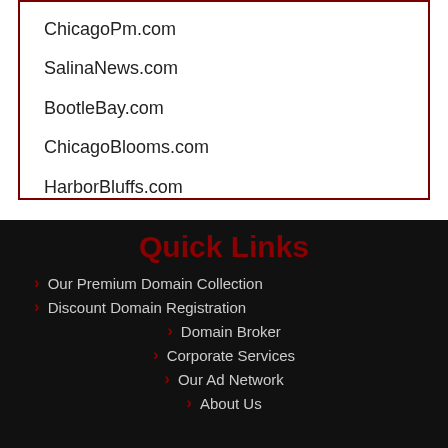ChicagoPm.com
SalinaNews.com
BootleBay.com
ChicagoBlooms.com
HarborBluffs.com
Quick Links
Our Premium Domain Collection
Discount Domain Registration
Domain Broker
Corporate Services
Our Ad Network
About Us